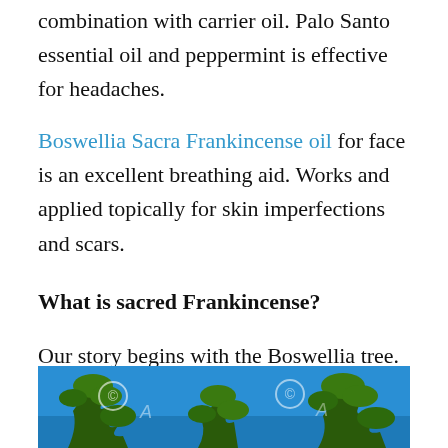combination with carrier oil. Palo Santo essential oil and peppermint is effective for headaches.
Boswellia Sacra Frankincense oil for face is an excellent breathing aid. Works and applied topically for skin imperfections and scars.
What is sacred Frankincense?
Our story begins with the Boswellia tree. If you walk among these stone rocks in Oman, you are convinced to cross the Frankincense.
[Figure (photo): Photo of tree branches with green foliage against a blue sky, with copyright watermark symbols visible]